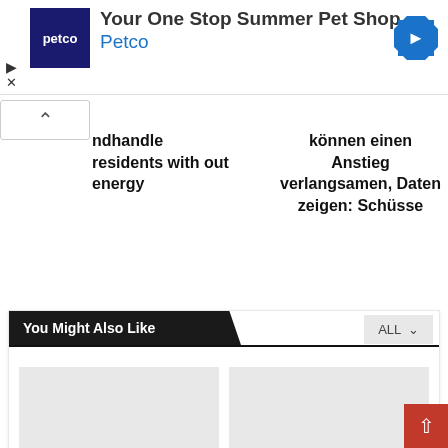[Figure (other): Petco advertisement banner with logo and navigation arrow]
ndhandle residents with out energy
können einen Anstieg verlangsamen, Daten zeigen: Schüsse
You Might Also Like
[Figure (photo): Placeholder image for JAY-Z's Roc Nation Faculty of Music article]
[Figure (photo): Placeholder image for JAY-Z's Roc Nation College of Music article]
JAY-Z's Roc Nation Faculty of Music, Conversations and...
JAY-Z's Roc Nation College of Music, Conversations and...